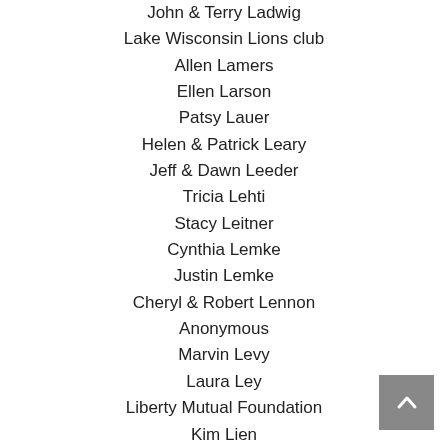John & Terry Ladwig
Lake Wisconsin Lions club
Allen Lamers
Ellen Larson
Patsy Lauer
Helen & Patrick Leary
Jeff & Dawn Leeder
Tricia Lehti
Stacy Leitner
Cynthia Lemke
Justin Lemke
Cheryl & Robert Lennon
Anonymous
Marvin Levy
Laura Ley
Liberty Mutual Foundation
Kim Lien
Bryan Lilly
Georgia Link
Kim Lins
Irene Lippelt
Barbara Lockwood